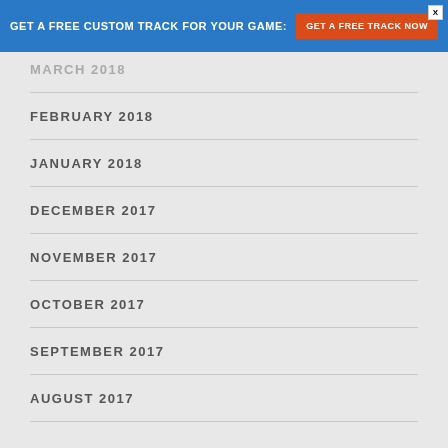GET A FREE CUSTOM TRACK FOR YOUR GAME: GET A FREE TRACK NOW
MARCH 2018
FEBRUARY 2018
JANUARY 2018
DECEMBER 2017
NOVEMBER 2017
OCTOBER 2017
SEPTEMBER 2017
AUGUST 2017